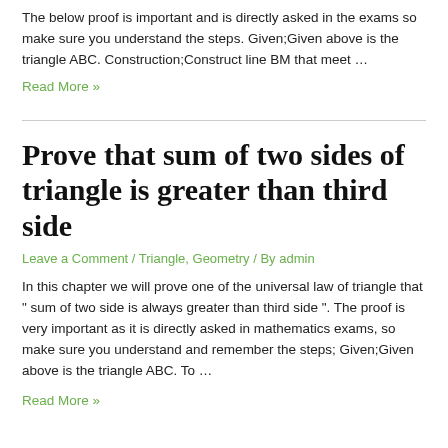The below proof is important and is directly asked in the exams so make sure you understand the steps. Given;Given above is the triangle ABC. Construction;Construct line BM that meet …
Read More »
Prove that sum of two sides of triangle is greater than third side
Leave a Comment / Triangle, Geometry / By admin
In this chapter we will prove one of the universal law of triangle that " sum of two side is always greater than third side ". The proof is very important as it is directly asked in mathematics exams, so make sure you understand and remember the steps; Given;Given above is the triangle ABC. To …
Read More »